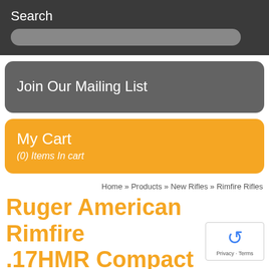Search
Join Our Mailing List
My Cart
(0) Items In cart
Home » Products » New Rifles » Rimfire Rifles
Ruger American Rimfire .17HMR Compact Threaded Barrel